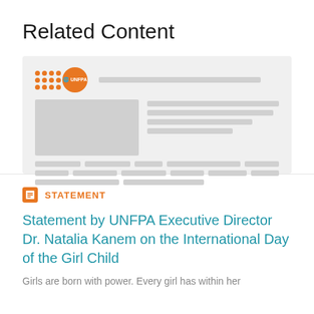Related Content
[Figure (screenshot): Screenshot/preview of UNFPA website page with orange dot-grid logo, UNFPA circle logo, and gray placeholder content bars and image blocks]
STATEMENT
Statement by UNFPA Executive Director Dr. Natalia Kanem on the International Day of the Girl Child
Girls are born with power. Every girl has within her